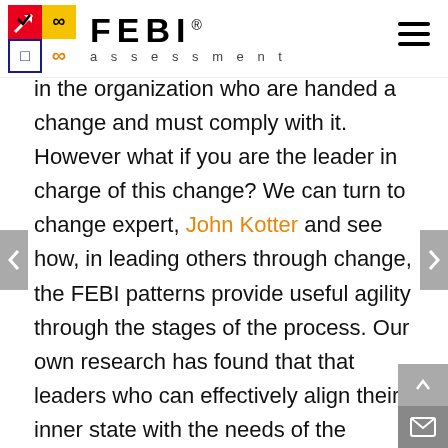FEBI® assessment
in the organization who are handed a change and must comply with it. However what if you are the leader in charge of this change? We can turn to change expert, John Kotter and see how, in leading others through change, the FEBI patterns provide useful agility through the stages of the process. Our own research has found that that leaders who can effectively align their inner state with the needs of the situation act in the most effective way. Below you can see how the energy patterns of FEBI map to the steps in Kotter's model: